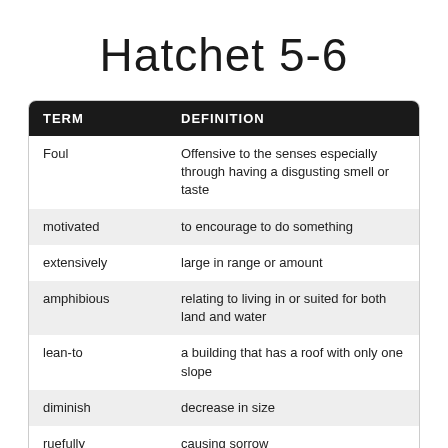Hatchet 5-6
| TERM | DEFINITION |
| --- | --- |
| Foul | Offensive to the senses especially through having a disgusting smell or taste |
| motivated | to encourage to do something |
| extensively | large in range or amount |
| amphibious | relating to living in or suited for both land and water |
| lean-to | a building that has a roof with only one slope |
| diminish | decrease in size |
| ruefully | causing sorrow |